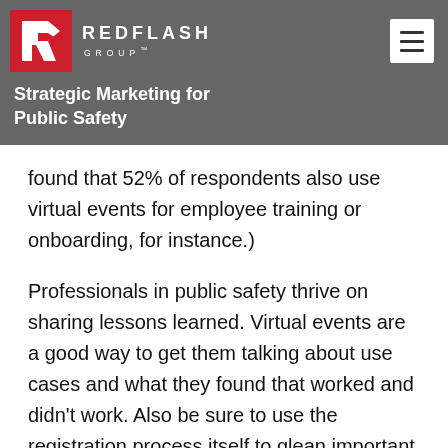REDFLASH GROUP
Strategic Marketing for Public Safety
found that 52% of respondents also use virtual events for employee training or onboarding, for instance.)
Professionals in public safety thrive on sharing lessons learned. Virtual events are a good way to get them talking about use cases and what they found that worked and didn't work. Also be sure to use the registration process itself to glean important information about potential